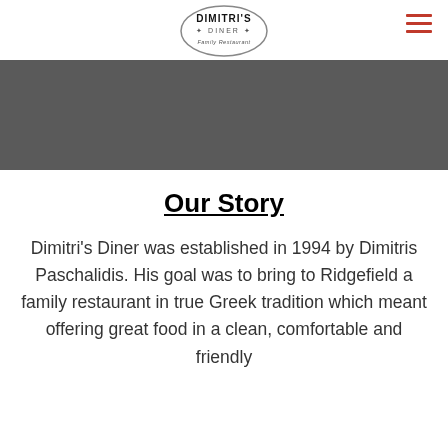Dimitri's Diner Family Restaurant — logo and navigation
[Figure (logo): Dimitri's Diner Family Restaurant oval logo with black text on white background]
[Figure (photo): Dark gray hero banner image]
Our Story
Dimitri's Diner was established in 1994 by Dimitris Paschalidis. His goal was to bring to Ridgefield a family restaurant in true Greek tradition which meant offering great food in a clean, comfortable and friendly